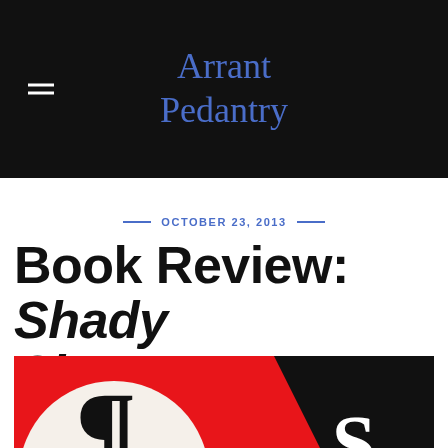Arrant Pedantry
— OCTOBER 23, 2013 —
Book Review: Shady Characters
[Figure (illustration): Book cover of Shady Characters showing a bold typographic design in red, black, and white with large punctuation characters]